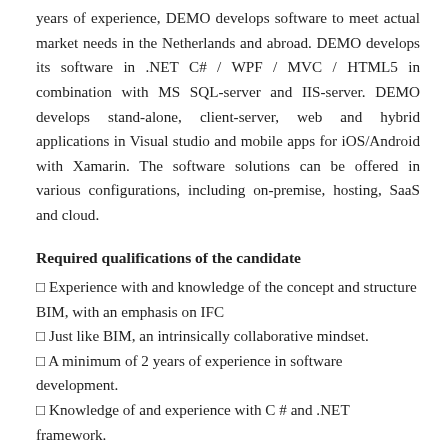years of experience, DEMO develops software to meet actual market needs in the Netherlands and abroad. DEMO develops its software in .NET C# / WPF / MVC / HTML5 in combination with MS SQL-server and IIS-server. DEMO develops stand-alone, client-server, web and hybrid applications in Visual studio and mobile apps for iOS/Android with Xamarin. The software solutions can be offered in various configurations, including on-premise, hosting, SaaS and cloud.
Required qualifications of the candidate
Experience with and knowledge of the concept and structure BIM, with an emphasis on IFC
Just like BIM, an intrinsically collaborative mindset.
A minimum of 2 years of experience in software development.
Knowledge of and experience with C # and .NET framework.
Knowledge of relational (MS SQL) and non-relational databases.
Excellent understanding of both the technical and functional